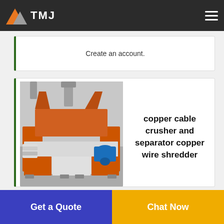TMJ
Create an account.
[Figure (photo): Industrial copper cable crusher and separator / copper wire shredder machine, orange and white body with blue motor]
copper cable crusher and separator copper wire shredder
Nov 27 2013 · we can supply
copper cable crusher match with our copper briquetting press build a production line for the copper wire recycling. the
Get a Quote
Chat Now